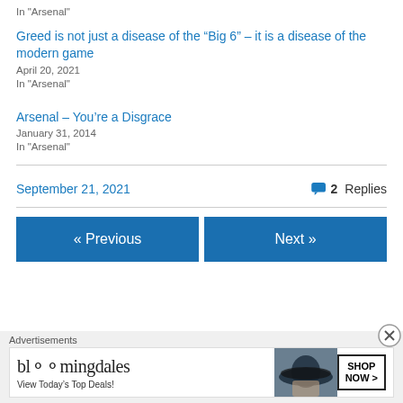In "Arsenal"
Greed is not just a disease of the “Big 6” – it is a disease of the modern game
April 20, 2021
In "Arsenal"
Arsenal – You’re a Disgrace
January 31, 2014
In "Arsenal"
September 21, 2021
2 Replies
« Previous
Next »
Advertisements
[Figure (other): Bloomingdale's advertisement banner: 'View Today's Top Deals!' with SHOP NOW button and woman in hat image]